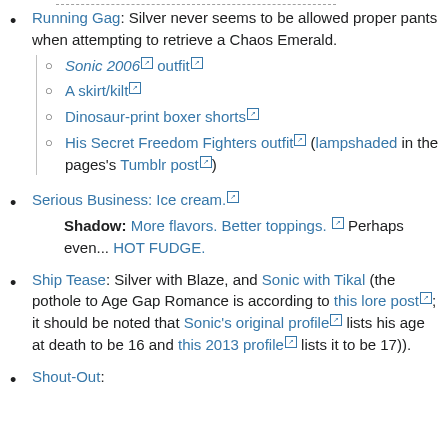Running Gag: Silver never seems to be allowed proper pants when attempting to retrieve a Chaos Emerald.
Sonic 2006 outfit
A skirt/kilt
Dinosaur-print boxer shorts
His Secret Freedom Fighters outfit (lampshaded in the pages's Tumblr post)
Serious Business: Ice cream. Shadow: More flavors. Better toppings. Perhaps even... HOT FUDGE.
Ship Tease: Silver with Blaze, and Sonic with Tikal (the pothole to Age Gap Romance is according to this lore post; it should be noted that Sonic's original profile lists his age at death to be 16 and this 2013 profile lists it to be 17)).
Shout-Out: